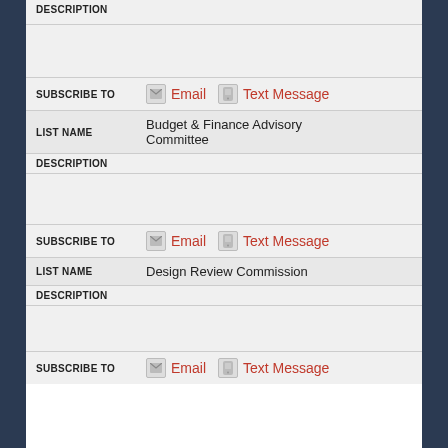| FIELD | VALUE |
| --- | --- |
| DESCRIPTION |  |
| SUBSCRIBE TO | Email | Text Message |
| LIST NAME | Budget & Finance Advisory Committee |
| DESCRIPTION |  |
| SUBSCRIBE TO | Email | Text Message |
| LIST NAME | Design Review Commission |
| DESCRIPTION |  |
| SUBSCRIBE TO | Email | Text Message |